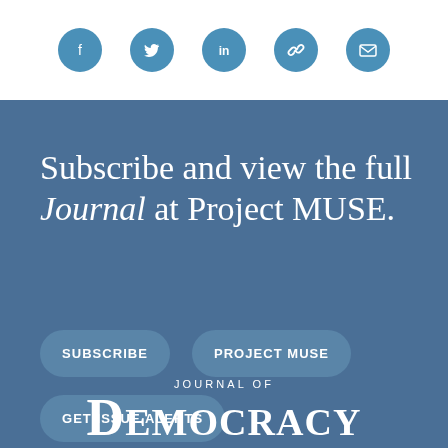[Figure (infographic): Social media sharing icons in blue circles: Facebook, Twitter, LinkedIn, Link/Chain, Email]
Subscribe and view the full Journal at Project MUSE.
SUBSCRIBE
PROJECT MUSE
GET ISSUE ALERTS
JOURNAL OF DEMOCRACY